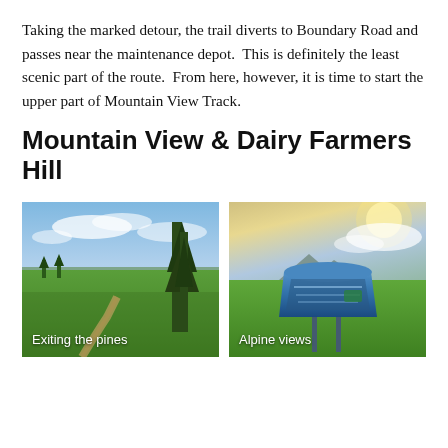Taking the marked detour, the trail diverts to Boundary Road and passes near the maintenance depot.  This is definitely the least scenic part of the route.  From here, however, it is time to start the upper part of Mountain View Track.
Mountain View & Dairy Farmers Hill
[Figure (photo): Landscape photo of a trail exiting pine forest with green fields and blue sky. Caption: Exiting the pines]
[Figure (photo): Photo of an alpine information sign/kiosk in a green field with mountains and dramatic sky in background. Caption: Alpine views]